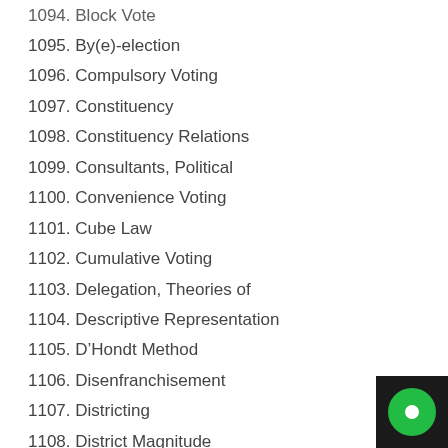1094. Block Vote
1095. By(e)-election
1096. Compulsory Voting
1097. Constituency
1098. Constituency Relations
1099. Consultants, Political
1100. Convenience Voting
1101. Cube Law
1102. Cumulative Voting
1103. Delegation, Theories of
1104. Descriptive Representation
1105. D’Hondt Method
1106. Disenfranchisement
1107. Districting
1108. District Magnitude
1109. Droop Quota
1110. Duverger’s Law
1111. Election Commission
1112. Election Monitoring
1113. Electoral Administration